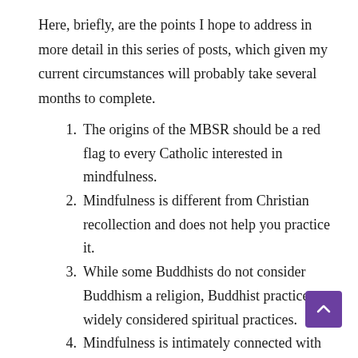Here, briefly, are the points I hope to address in more detail in this series of posts, which given my current circumstances will probably take several months to complete.
The origins of the MBSR should be a red flag to every Catholic interested in mindfulness.
Mindfulness is different from Christian recollection and does not help you practice it.
While some Buddhists do not consider Buddhism a religion, Buddhist practices are widely considered spiritual practices.
Mindfulness is intimately connected with Buddhist meditation practices.
Buddhist detachment is different from Christian